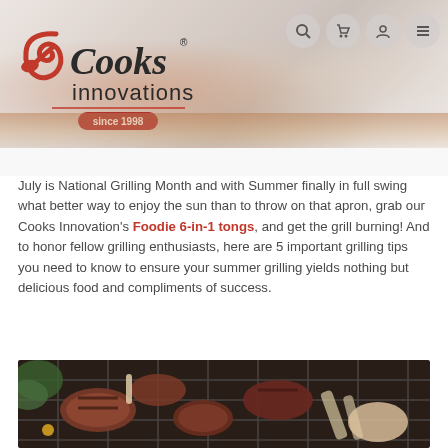[Figure (logo): Cooks Innovations logo with red spoon icon and 'since 1998' badge]
[Figure (photo): Navigation icons: search, cart, account, menu on blurred food background header]
July is National Grilling Month and with Summer finally in full swing what better way to enjoy the sun than to throw on that apron, grab our Cooks Innovation's Foodie 6-in-1 tongs, and get the grill burning! And to honor fellow grilling enthusiasts, here are 5 important grilling tips you need to know to ensure your summer grilling yields nothing but delicious food and compliments of success.
[Figure (photo): Photo of various cuts of meat including lamb chops and burgers on a charcoal grill, with a hand holding tongs]